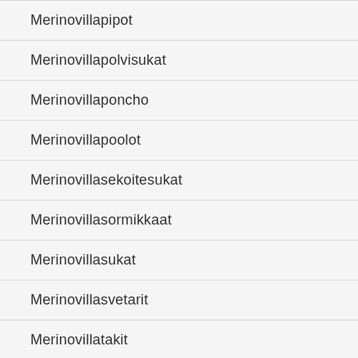Merinovillapipot
Merinovillapolvisukat
Merinovillaponcho
Merinovillapoolot
Merinovillasekoitesukat
Merinovillasormikkaat
Merinovillasukat
Merinovillasvetarit
Merinovillatakit